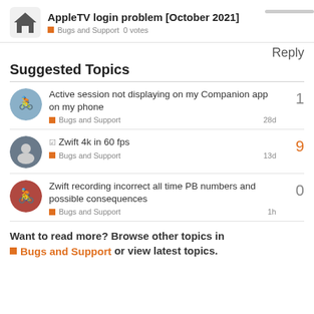AppleTV login problem [October 2021] — Bugs and Support · 0 votes
Suggested Topics
Active session not displaying on my Companion app on my phone — Bugs and Support — 28d — 1 reply
☑ Zwift 4k in 60 fps — Bugs and Support — 13d — 9 replies
Zwift recording incorrect all time PB numbers and possible consequences — Bugs and Support — 1h — 0 replies
Want to read more? Browse other topics in Bugs and Support or view latest topics.